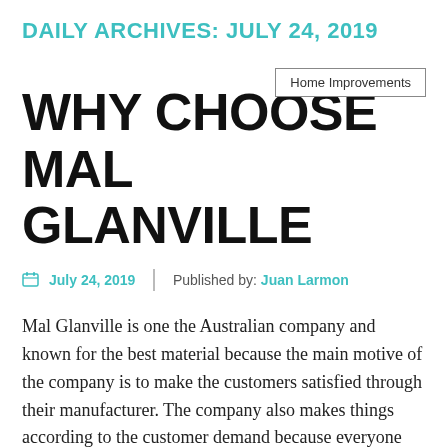DAILY ARCHIVES: JULY 24, 2019
Home Improvements
WHY CHOOSE MAL GLANVILLE
July 24, 2019   |   Published by: Juan Larmon
Mal Glanville is one the Australian company and known for the best material because the main motive of the company is to make the customers satisfied through their manufacturer. The company also makes things according to the customer demand because everyone has a different interior of the house and everyone